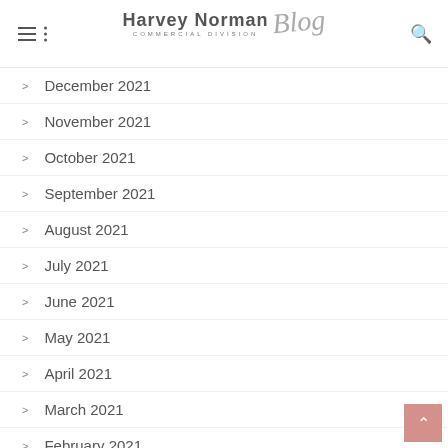Harvey Norman Commercial Division Blog
December 2021
November 2021
October 2021
September 2021
August 2021
July 2021
June 2021
May 2021
April 2021
March 2021
February 2021
January 2021
December 2020